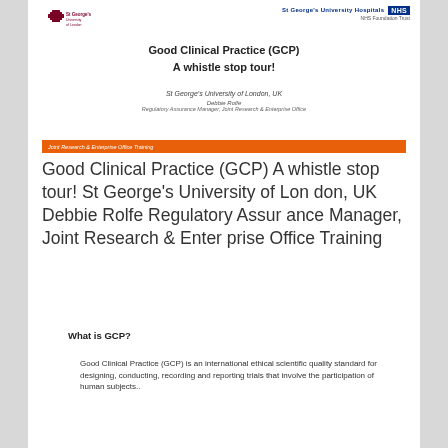St George's University Hospital NHS | St George's University of London
Good Clinical Practice (GCP)
A whistle stop tour!
St George's University of London, UK
Debbie Rolfe
Regulatory Assurance Manager, Joint Research & Enterprise Office
Joint Research & Enterprise Office Training
Good Clinical Practice (GCP) A whistle stop tour! St George's University of London, UK Debbie Rolfe Regulatory Assurance Manager, Joint Research & Enterprise Office Training
What is GCP?
Good Clinical Practice (GCP) is an international ethical scientific quality standard for designing, conducting, recording and reporting trials that involve the participation of human subjects..